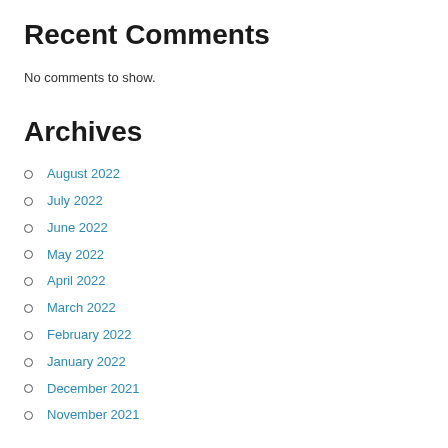Recent Comments
No comments to show.
Archives
August 2022
July 2022
June 2022
May 2022
April 2022
March 2022
February 2022
January 2022
December 2021
November 2021